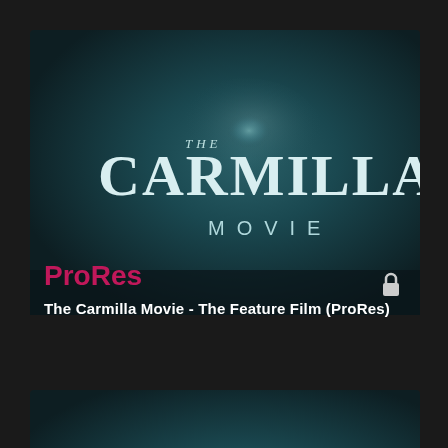[Figure (screenshot): The Carmilla Movie title card thumbnail with teal/dark background and stylized white text logo]
ProRes
The Carmilla Movie - The Feature Film (ProRes)
[Figure (screenshot): Partial second thumbnail of The Carmilla Movie title card]